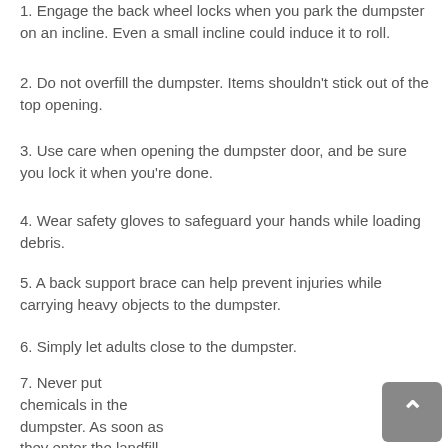1. Engage the back wheel locks when you park the dumpster on an incline. Even a small incline could induce it to roll.
2. Do not overfill the dumpster. Items shouldn't stick out of the top opening.
3. Use care when opening the dumpster door, and be sure you lock it when you're done.
4. Wear safety gloves to safeguard your hands while loading debris.
5. A back support brace can help prevent injuries while carrying heavy objects to the dumpster.
6. Simply let adults close to the dumpster.
7. Never put chemicals in the dumpster. As soon as they enter the landfill, they are able to leak out and contaminate your local ground water.